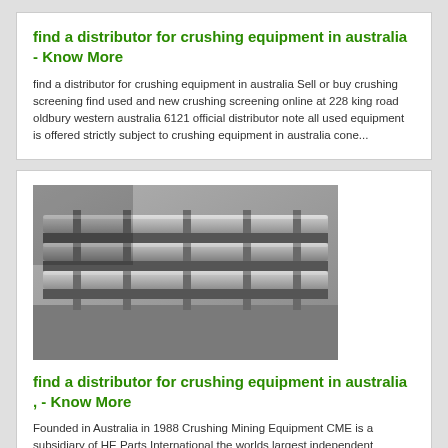find a distributor for crushing equipment in australia - Know More
find a distributor for crushing equipment in australia Sell or buy crushing screening find used and new crushing screening online at 228 king road oldbury western australia 6121 official distributor note all used equipment is offered strictly subject to crushing equipment in australia cone...
[Figure (photo): Photo of industrial crushing/screening equipment — metal rollers or bars arranged in parallel on a frame, viewed from above at an angle, in grayscale.]
find a distributor for crushing equipment in australia , - Know More
Founded in Australia in 1988 Crushing Mining Equipment CME is a subsidiary of HE Parts International the worlds largest independent supplier CME Crushing and Mining Crushing Mining Equipment Crushing equipment spareswear products service Online Chat find a distributor for crushing equipment in